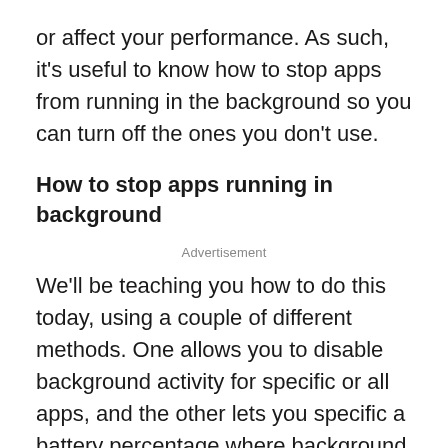or affect your performance. As such, it's useful to know how to stop apps from running in the background so you can turn off the ones you don't use.
How to stop apps running in background
Advertisement
We'll be teaching you how to do this today, using a couple of different methods. One allows you to disable background activity for specific or all apps, and the other lets you specific a battery percentage where background activity will be limited.
Before we start, you should be aware that when